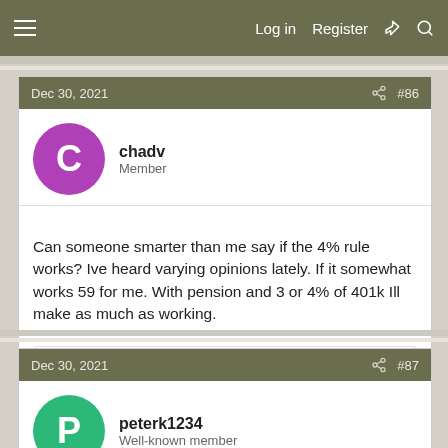Log in  Register
Dec 30, 2021  #86
chadv
Member
Can someone smarter than me say if the 4% rule works? Ive heard varying opinions lately. If it somewhat works 59 for me. With pension and 3 or 4% of 401k Ill make as much as working.
TheGrayRider
Dec 30, 2021  #87
peterk1234
Well-known member